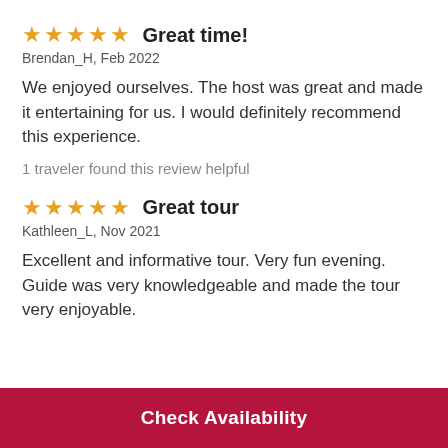Great time!
Brendan_H, Feb 2022
We enjoyed ourselves. The host was great and made it entertaining for us. I would definitely recommend this experience.
1 traveler found this review helpful
Great tour
Kathleen_L, Nov 2021
Excellent and informative tour. Very fun evening. Guide was very knowledgeable and made the tour very enjoyable.
Check Availability